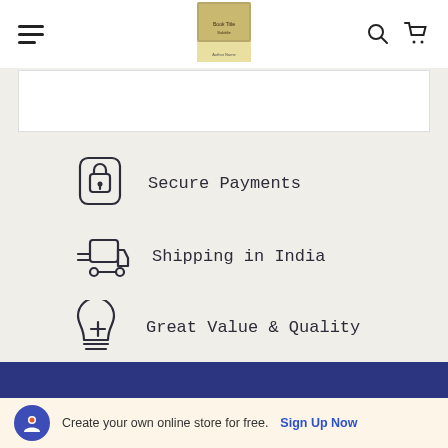Navigation header with hamburger menu, book logo, search and cart icons
[Figure (screenshot): White card area partially visible below header]
Secure Payments
Shipping in India
Great Value & Quality
Create your own online store for free. Sign Up Now